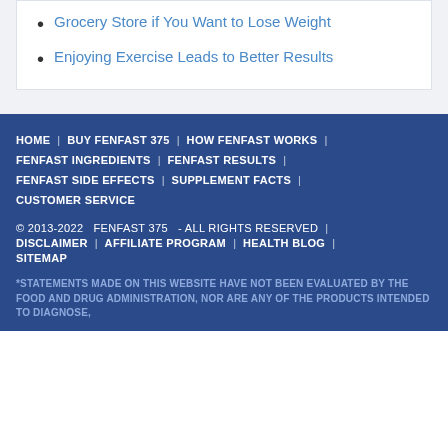Grocery Store if You Want to Lose Weight
Enjoying Exercise Leads to Better Results
HOME | BUY FENFAST 375 | HOW FENFAST WORKS | FENFAST INGREDIENTS | FENFAST RESULTS | FENFAST SIDE EFFECTS | SUPPLEMENT FACTS | CUSTOMER SERVICE
© 2013-2022  FENFAST 375  – ALL RIGHTS RESERVED | DISCLAIMER | AFFILIATE PROGRAM | HEALTH BLOG | SITEMAP
*STATEMENTS MADE ON THIS WEBSITE HAVE NOT BEEN EVALUATED BY THE FOOD AND DRUG ADMINISTRATION, NOR ARE ANY OF THE PRODUCTS INTENDED TO DIAGNOSE,